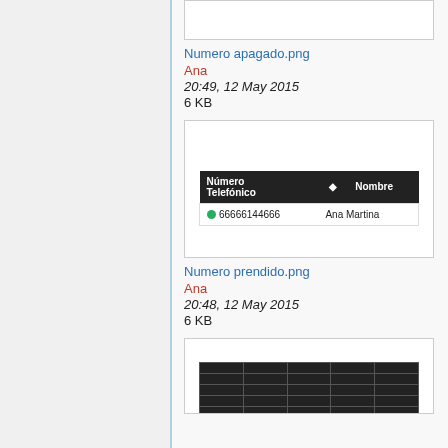[Figure (screenshot): Partially visible thumbnail at top]
Numero apagado.png
Ana
20:49, 12 May 2015
6 KB
[Figure (screenshot): Thumbnail showing a phone contacts table with columns 'Número Telefónico' and 'Nombre', row: 66666144666, Ana Martina]
Numero prendido.png
Ana
20:48, 12 May 2015
6 KB
[Figure (screenshot): Partially visible spreadsheet thumbnail at bottom]